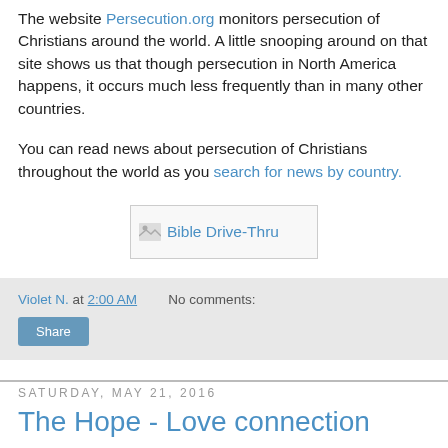The website Persecution.org monitors persecution of Christians around the world. A little snooping around on that site shows us that though persecution in North America happens, it occurs much less frequently than in many other countries.
You can read news about persecution of Christians throughout the world as you search for news by country.
[Figure (other): Bible Drive-Thru image link placeholder]
Violet N. at 2:00 AM   No comments:
Share
Saturday, May 21, 2016
The Hope - Love connection